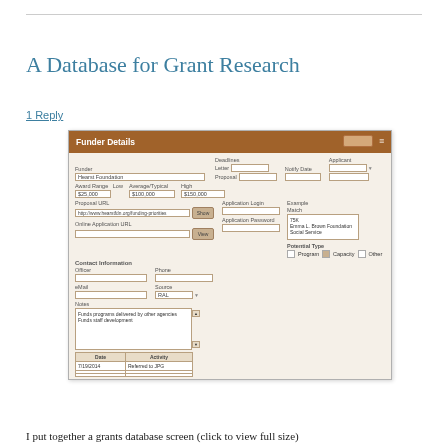A Database for Grant Research
1 Reply
[Figure (screenshot): A screenshot of a grants database form titled 'Funder Details' with a brown title bar. The form contains fields for Funder (Hearst Foundation), Deadlines, Notify Date, Applicant, Award Range (Low: $25,000, Average/Typical: $100,000, High: $150,000), Proposal URL (http://www.hearstfdn.org/funding-priorities), Application Login, Application Password, Online Application URL, Contact Information (Officer, eMail, Phone, Source), Notes (Funds programs delivered by other agencies; Funds staff development), Example Match (75K, Emma L. Brown Foundation, Social Service), Potential Type (Program, Capacity checked, Other), and a mini table with Date and Activity columns showing 7/19/2014 - Referred to JPG.]
I put together a grants database screen (click to view full size)